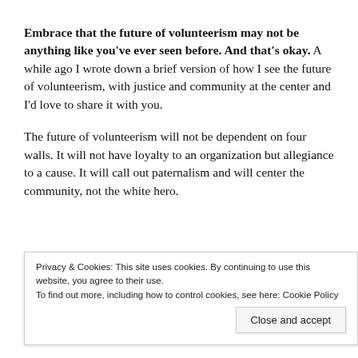Embrace that the future of volunteerism may not be anything like you've ever seen before. And that's okay. A while ago I wrote down a brief version of how I see the future of volunteerism, with justice and community at the center and I'd love to share it with you.
The future of volunteerism will not be dependent on four walls. It will not have loyalty to an organization but allegiance to a cause. It will call out paternalism and will center the community, not the white hero.
[cookie banner] Privacy & Cookies: This site uses cookies. By continuing to use this website, you agree to their use. To find out more, including how to control cookies, see here: Cookie Policy
challenged to continue looking at all aspects of volunteer engagement through the lens of